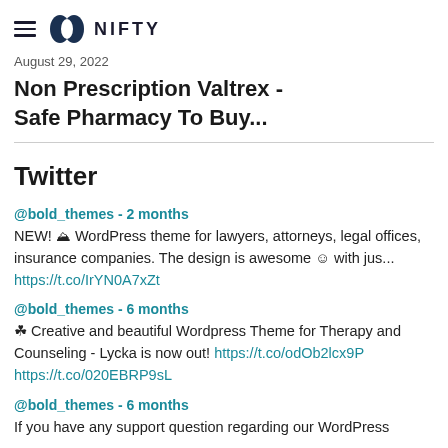NIFTY
August 29, 2022
Non Prescription Valtrex - Safe Pharmacy To Buy...
Twitter
@bold_themes - 2 months
NEW! 🏛 WordPress theme for lawyers, attorneys, legal offices, insurance companies. The design is awesome 😊 with jus... https://t.co/IrYN0A7xZt
@bold_themes - 6 months
🌿 Creative and beautiful Wordpress Theme for Therapy and Counseling - Lycka is now out! https://t.co/odOb2lcx9P https://t.co/020EBRP9sL
@bold_themes - 6 months
If you have any support question regarding our WordPress